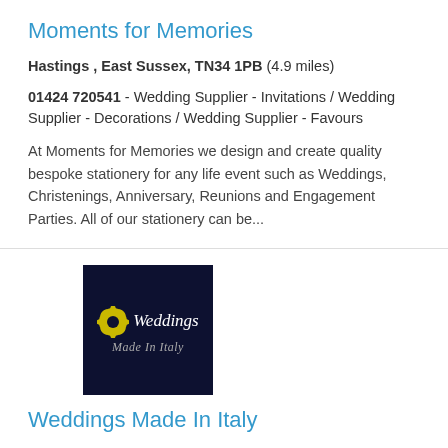Moments for Memories
Hastings , East Sussex, TN34 1PB (4.9 miles)
01424 720541 - Wedding Supplier - Invitations / Wedding Supplier - Decorations / Wedding Supplier - Favours
At Moments for Memories we design and create quality bespoke stationery for any life event such as Weddings, Christenings, Anniversary, Reunions and Engagement Parties. All of our stationery can be...
[Figure (logo): Weddings Made In Italy logo on dark navy background with yellow flower icon]
Weddings Made In Italy
Hastings , East Sussex, TN34 3BS (5.5 miles)